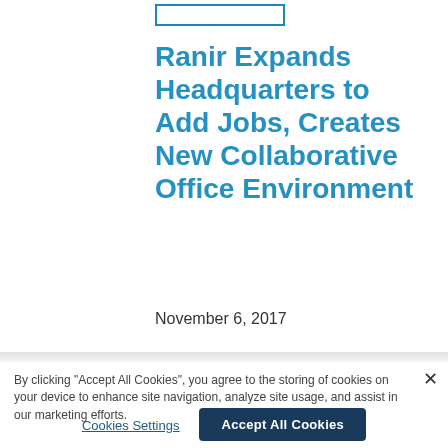Ranir Expands Headquarters to Add Jobs, Creates New Collaborative Office Environment
November 6, 2017
By clicking “Accept All Cookies”, you agree to the storing of cookies on your device to enhance site navigation, analyze site usage, and assist in our marketing efforts.
Cookies Settings
Accept All Cookies